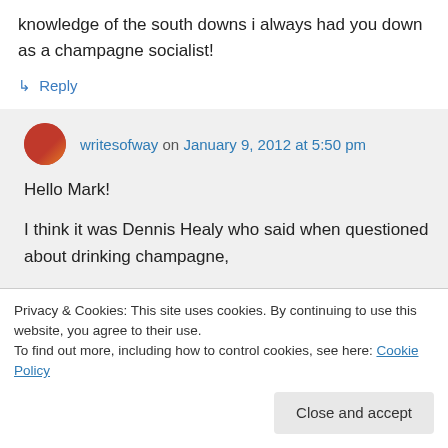knowledge of the south downs i always had you down as a champagne socialist!
↳ Reply
writesofway on January 9, 2012 at 5:50 pm
Hello Mark!
I think it was Dennis Healy who said when questioned about drinking champagne,
Privacy & Cookies: This site uses cookies. By continuing to use this website, you agree to their use.
To find out more, including how to control cookies, see here: Cookie Policy
Close and accept
years older than I am now.